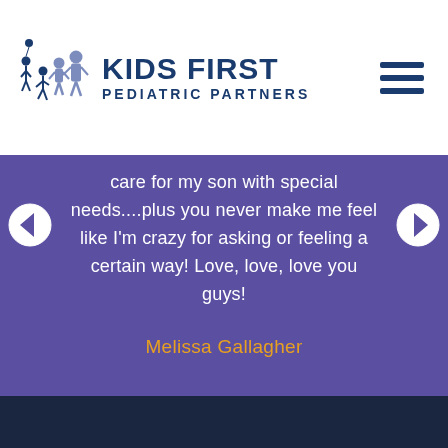KIDS FIRST PEDIATRIC PARTNERS
care for my son with special needs....plus you never make me feel like I'm crazy for asking or feeling a certain way! Love, love, love you guys!
Melissa Gallagher